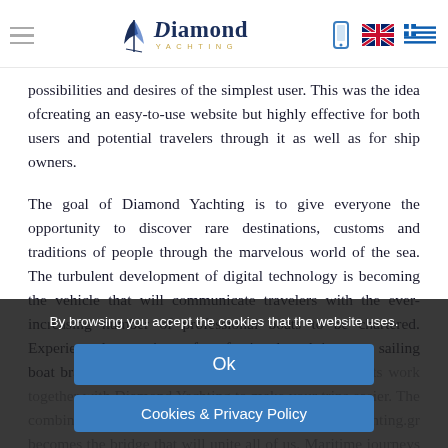Diamond Yachting – navigation header with logo, hamburger menu, phone icon, UK flag, Greek flag
possibilities and desires of the simplest user. This was the idea ofcreating an easy-to-use website but highly effective for both users and potential travelers through it as well as for ship owners.
The goal of Diamond Yachting is to give everyone the opportunity to discover rare destinations, customs and traditions of people through the marvelous world of the sea. The turbulent development of digital technology is becoming the vehicle that will communicate travelers with the ever-increasing number of professional boats to be chartered. Experienced executives of professional yachting, top sailing boat brand name, catamaran, motor yachts, superyachts work together with Diamond Yachting to make your trips easier. The combination of the platform www.diamondyachting.gr becomes the bridge that will unite all of us. Maritime journeys throughout the centuries
By browsing you accept the cookies that the website uses.
Ok
Cookies & Privacy Policy